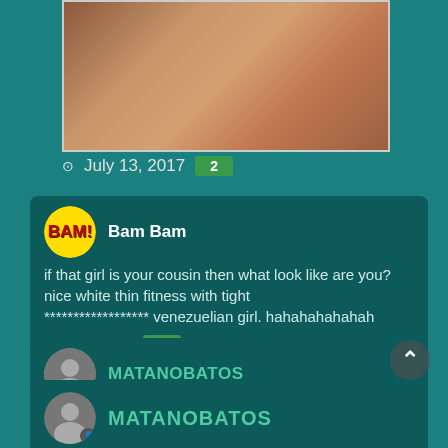[Figure (photo): Photo of a woman reclining on a sofa/couch]
July 13, 2017  2
Bam Bam
if that girl is your cousin then what look like are you? nice white thin fitness with tight ***************** venezuelian girl. hahahahahahah
July 13, 2017  1
MATANOBATOS
hahahaha :v
July 13, 2017  1
MATANOBATOS